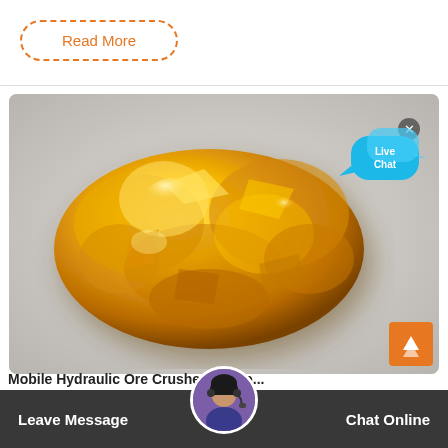Read More
[Figure (photo): A shiny gold nugget on a light gray background, with a Live Chat speech bubble overlay in the top right corner]
Leave Message
Chat Online
Mobile Hydraulic Ore Crusher 100 To...